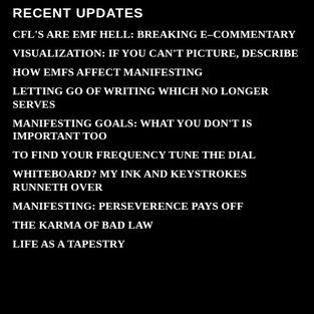RECENT UPDATES
CFL'S ARE EMF HELL: BREAKING E-COMMENTARY
VISUALIZATION: IF YOU CAN'T PICTURE, DESCRIBE
HOW EMFS AFFECT MANIFESTING
LETTING GO OF WRITING WHICH NO LONGER SERVES
MANIFESTING GOALS: WHAT YOU DON'T IS IMPORTANT TOO
TO FIND YOUR FREQUENCY TUNE THE DIAL
WHITEBOARD? MY INK AND KEYSTROKES RUNNETH OVER
MANIFESTING: PERSEVERENCE PAYS OFF
THE KARMA OF BAD LAW
LIFE AS A TAPESTRY